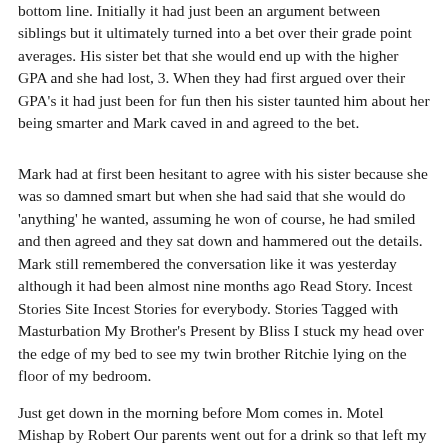bottom line. Initially it had just been an argument between siblings but it ultimately turned into a bet over their grade point averages. His sister bet that she would end up with the higher GPA and she had lost, 3. When they had first argued over their GPA's it had just been for fun then his sister taunted him about her being smarter and Mark caved in and agreed to the bet.
Mark had at first been hesitant to agree with his sister because she was so damned smart but when she had said that she would do 'anything' he wanted, assuming he won of course, he had smiled and then agreed and they sat down and hammered out the details. Mark still remembered the conversation like it was yesterday although it had been almost nine months ago Read Story. Incest Stories Site Incest Stories for everybody. Stories Tagged with Masturbation My Brother's Present by Bliss I stuck my head over the edge of my bed to see my twin brother Ritchie lying on the floor of my bedroom.
Just get down in the morning before Mom comes in. Motel Mishap by Robert Our parents went out for a drink so that left my brother and I in the motel room alone.
Brother masturbation stories